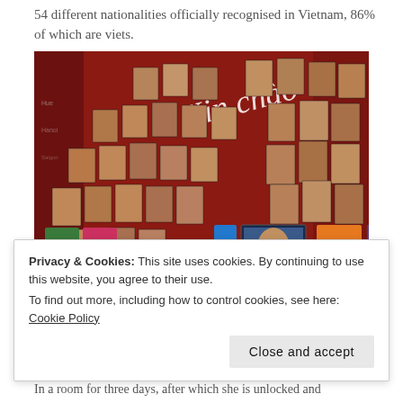54 different nationalities officially recognised in Vietnam, 86% of which are viets.
[Figure (photo): Museum exhibition wall in red with the text 'Xin chào' displayed prominently. The wall shows dozens of portrait photographs of people from various Vietnamese ethnic groups, along with informational placards and a small video screen at the bottom center.]
Privacy & Cookies: This site uses cookies. By continuing to use this website, you agree to their use.
To find out more, including how to control cookies, see here: Cookie Policy
In a room for three days, after which she is unlocked and